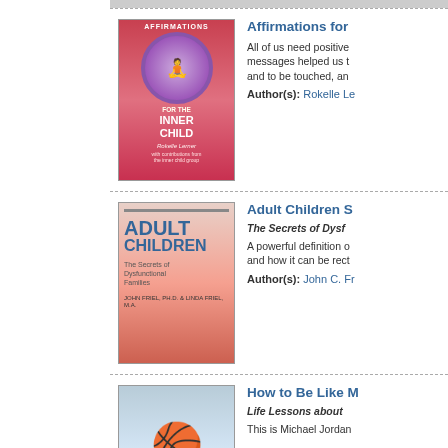[Figure (illustration): Book cover: Affirmations for the Inner Child by Rokelle Lerner. Red/pink cover with circular medallion illustration of a figure.]
Affirmations for
All of us need positive messages helped us t and to be touched, an
Author(s): Rokelle Le
[Figure (illustration): Book cover: Adult Children - The Secrets of Dysfunctional Families by John Friel Ph.D. & Linda Friel M.A. Pink/red gradient cover.]
Adult Children S
The Secrets of Dysf
A powerful definition o and how it can be rect
Author(s): John C. Fr
[Figure (photo): Book cover photo: How to Be Like Mike - Life Lessons about basketball. Shows Michael Jordan in Chicago Bulls uniform.]
How to Be Like M
Life Lessons about
This is Michael Jordan